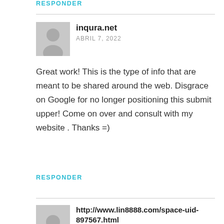RESPONDER
inqura.net
ABRIL 7, 2022
Great work! This is the type of info that are meant to be shared around the web. Disgrace on Google for no longer positioning this submit upper! Come on over and consult with my website . Thanks =)
RESPONDER
http://www.lin8888.com/space-uid-897567.html